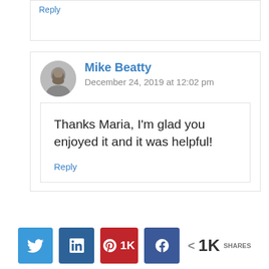Reply
Mike Beatty
December 24, 2019 at 12:02 pm
Thanks Maria, I'm glad you enjoyed it and it was helpful!
Reply
Twitter LinkedIn Pinterest 1K Facebook < 1K SHARES